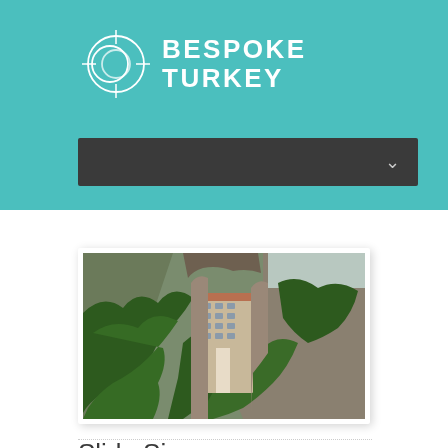[Figure (logo): Bespoke Turkey logo: geometric globe/circle icon with crosshairs beside bold white text 'BESPOKE TURKEY' on teal background]
[Figure (other): Dark navigation bar with a chevron/dropdown arrow on the right side]
[Figure (photo): Photograph of Sumela Monastery built into a rocky cliff face surrounded by dense green forest trees]
Slide Six